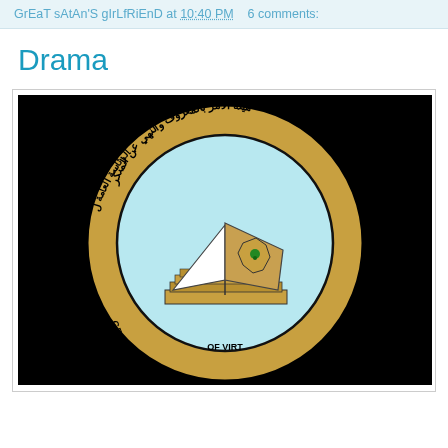GrEaT sAtAn'S gIrLfRiEnD at 10:40 PM   6 comments:
Drama
[Figure (logo): Circular seal/emblem with Arabic text around the top arc and English text 'GENERAL PROMOTION OF VICES' around the bottom arc. Center shows an open book with a white triangular shape and a map outline with a green palm tree emblem. The seal has a yellow/gold background with a black border and a light blue inner circle.]